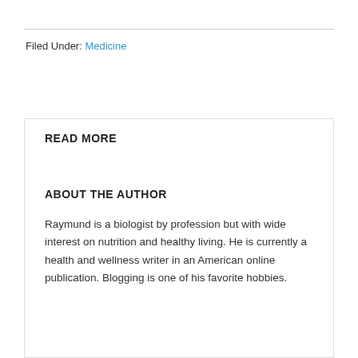Filed Under: Medicine
READ MORE
ABOUT THE AUTHOR
Raymund is a biologist by profession but with wide interest on nutrition and healthy living. He is currently a health and wellness writer in an American online publication. Blogging is one of his favorite hobbies.